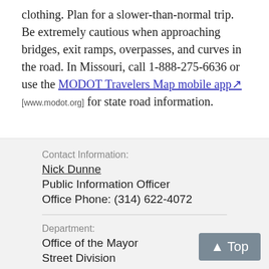clothing. Plan for a slower-than-normal trip. Be extremely cautious when approaching bridges, exit ramps, overpasses, and curves in the road. In Missouri, call 1-888-275-6636 or use the MODOT Travelers Map mobile app [www.modot.org] for state road information.
Contact Information: Nick Dunne, Public Information Officer, Office Phone: (314) 622-4072
Department: Office of the Mayor, Street Division
Topic: